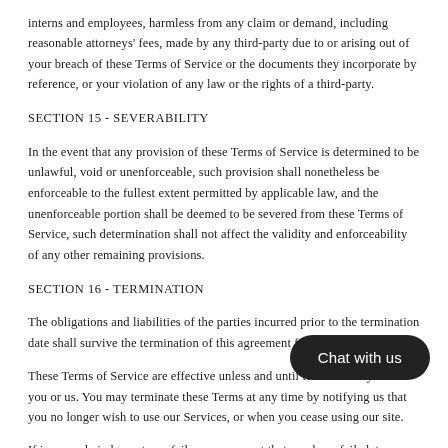interns and employees, harmless from any claim or demand, including reasonable attorneys' fees, made by any third-party due to or arising out of your breach of these Terms of Service or the documents they incorporate by reference, or your violation of any law or the rights of a third-party.
SECTION 15 - SEVERABILITY
In the event that any provision of these Terms of Service is determined to be unlawful, void or unenforceable, such provision shall nonetheless be enforceable to the fullest extent permitted by applicable law, and the unenforceable portion shall be deemed to be severed from these Terms of Service, such determination shall not affect the validity and enforceability of any other remaining provisions.
SECTION 16 - TERMINATION
The obligations and liabilities of the parties incurred prior to the termination date shall survive the termination of this agreement for all purposes.
These Terms of Service are effective unless and until terminated by either you or us. You may terminate these Terms at any time by notifying us that you no longer wish to use our Services, or when you cease using our site.
If in our sole judgment you fail, or we suspect that you have failed, to